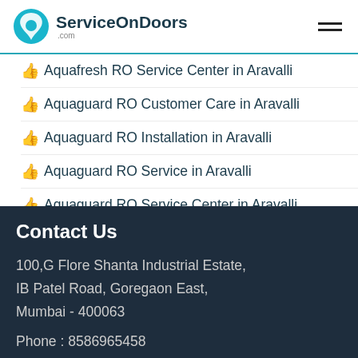ServiceOnDoors.com
Aquafresh RO Service Center in Aravalli
Aquaguard RO Customer Care in Aravalli
Aquaguard RO Installation in Aravalli
Aquaguard RO Service in Aravalli
Aquaguard RO Service Center in Aravalli
AquaSoft RO Customer Care in Aravalli
Contact Us
100,G Flore Shanta Industrial Estate, IB Patel Road, Goregaon East, Mumbai - 400063
Phone : 8586965458